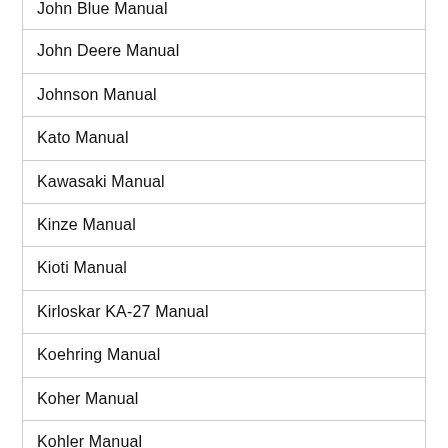John Blue Manual
John Deere Manual
Johnson Manual
Kato Manual
Kawasaki Manual
Kinze Manual
Kioti Manual
Kirloskar KA-27 Manual
Koehring Manual
Koher Manual
Kohler Manual